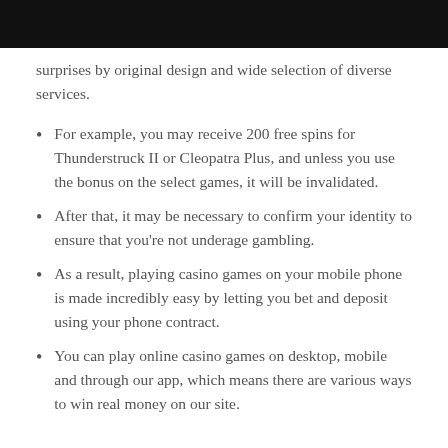surprises by original design and wide selection of diverse services.
For example, you may receive 200 free spins for Thunderstruck II or Cleopatra Plus, and unless you use the bonus on the select games, it will be invalidated.
After that, it may be necessary to confirm your identity to ensure that you're not underage gambling.
As a result, playing casino games on your mobile phone is made incredibly easy by letting you bet and deposit using your phone contract.
You can play online casino games on desktop, mobile and through our app, which means there are various ways to win real money on our site.